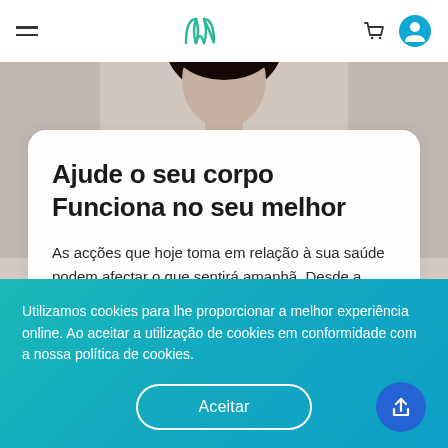Navigation bar with hamburger menu, logo, cart and profile icons
[Figure (photo): Hero image showing a person with curly dark hair from behind, against a light background]
Ajude o seu corpo Funciona no seu melhor
As acções que hoje toma em relação à sua saúde podem afectar o que sentirá amanhã. Desde a comida que se come até ao exercício físico, estas
Utilizamos cookies para lhe proporcionar a melhor experiência online. Ao aceitar a utilização de cookies em conformidade com a nossa política de cookies.
Aceitar
o envelhecimento saudável como "o processo de